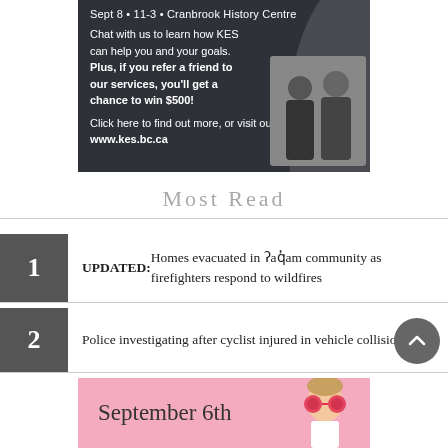[Figure (advertisement): KES advertisement banner on dark background. Top line: 'Sept 8 • 11-3 • Cranbrook History Centre'. Body: 'Chat with us to learn how KES can help you and your goals. Plus, if you refer a friend to our services, you'll get a chance to win $500! Click here to find out more, or visit our website at www.kes.bc.ca'. Photo of two people in dark shirts on the right side.]
Most Read
1 UPDATED: Homes evacuated in ʔaq̓am community as firefighters respond to wildfires
2 Police investigating after cyclist injured in vehicle collision
[Figure (advertisement): Pink advertisement banner with text 'September 6th' and illustration of a child wearing oversized red sunglasses.]